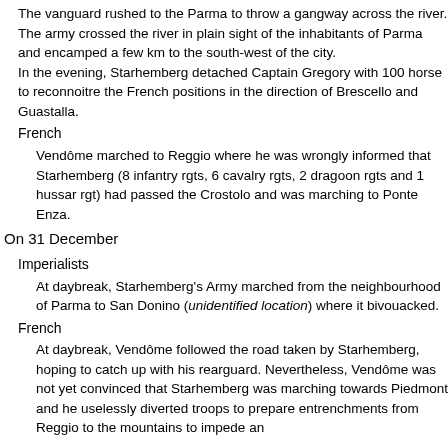The vanguard rushed to the Parma to throw a gangway across the river.
The army crossed the river in plain sight of the inhabitants of Parma and encamped a few km to the south-west of the city.
In the evening, Starhemberg detached Captain Gregory with 100 horse to reconnoitre the French positions in the direction of Brescello and Guastalla.
French
Vendôme marched to Reggio where he was wrongly informed that Starhemberg (8 infantry rgts, 6 cavalry rgts, 2 dragoon rgts and 1 hussar rgt) had passed the Crostolo and was marching to Ponte Enza.
On 31 December
Imperialists
At daybreak, Starhemberg's Army marched from the neighbourhood of Parma to San Donino (unidentified location) where it bivouacked.
French
At daybreak, Vendôme followed the road taken by Starhemberg, hoping to catch up with his rearguard. Nevertheless, Vendôme was not yet convinced that Starhemberg was marching towards Piedmont and he uselessly diverted troops to prepare entrenchments from Reggio to the mountains to impede an